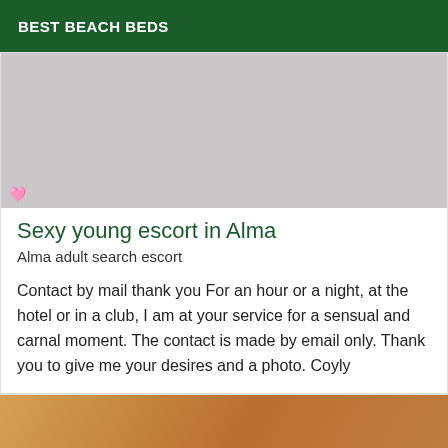BEST BEACH BEDS
[Figure (photo): Top photo placeholder, light gray background]
Sexy young escort in Alma
Alma adult search escort
Contact by mail thank you For an hour or a night, at the hotel or in a club, I am at your service for a sensual and carnal moment. The contact is made by email only. Thank you to give me your desires and a photo. Coyly
[Figure (photo): Bottom photo, warm golden/brown tones]